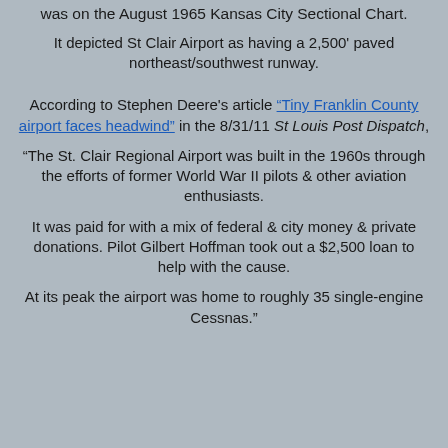was on the August 1965 Kansas City Sectional Chart.
It depicted St Clair Airport as having a 2,500' paved northeast/southwest runway.
According to Stephen Deere's article “Tiny Franklin County airport faces headwind” in the 8/31/11 St Louis Post Dispatch,
“The St. Clair Regional Airport was built in the 1960s through the efforts of former World War II pilots & other aviation enthusiasts.
It was paid for with a mix of federal & city money & private donations. Pilot Gilbert Hoffman took out a $2,500 loan to help with the cause.
At its peak the airport was home to roughly 35 single-engine Cessnas.”